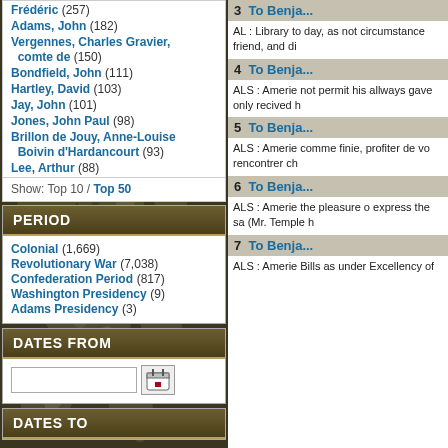Frédéric (257)
Adams, John (182)
Vergennes, Charles Gravier, comte de (150)
Bondfield, John (111)
Hartley, David (103)
Jay, John (101)
Jones, John Paul (98)
Brillon de Jouy, Anne-Louise Boivin d'Hardancourt (93)
Lee, Arthur (88)
Show: Top 10 / Top 50
PERIOD
Colonial (1,669)
Revolutionary War (7,038)
Confederation Period (817)
Washington Presidency (9)
Adams Presidency (3)
DATES FROM
DATES TO
3  To Benjа...
AL : Library to day, as not circumstance friend, and di
4  To Benjа...
ALS : Amerie not permit his allways gave only recived h
5  To Benjа...
ALS : Amerie comme finie, profiter de vo rencontrer ch
6  To Benjа...
ALS : Amerie the pleasure o express the sa (Mr. Temple h
7  To Benjа...
ALS : Amerie Bills as under Excellency of